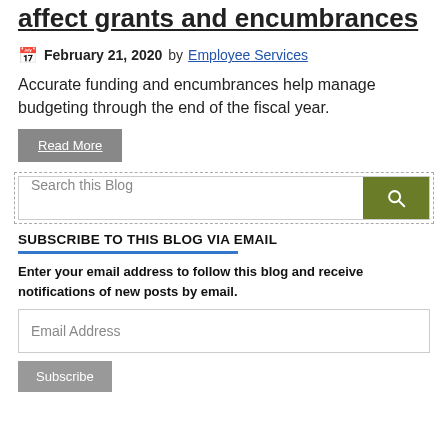affect grants and encumbrances
February 21, 2020 by Employee Services
Accurate funding and encumbrances help manage budgeting through the end of the fiscal year.
Read More
[Figure (other): Search this Blog input box with green search button]
SUBSCRIBE TO THIS BLOG VIA EMAIL
Enter your email address to follow this blog and receive notifications of new posts by email.
Email Address
Subscribe